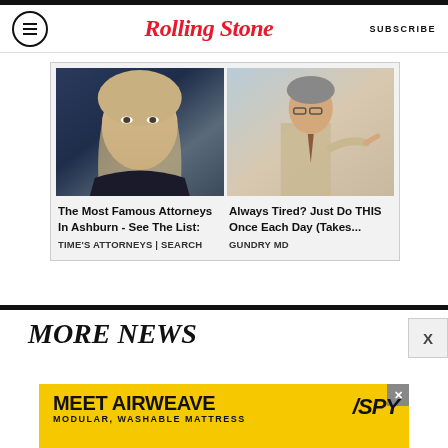Rolling Stone | SUBSCRIBE
[Figure (infographic): Advertisement card with two images: left shows a blonde woman, right shows a doctor pointing at something, on a light gray background]
The Most Famous Attorneys In Ashburn - See The List:
TIME'S ATTORNEYS | SEARCH
Always Tired? Just Do THIS Once Each Day (Takes...
GUNDRY MD
MORE NEWS
[Figure (infographic): Advertisement banner for Airweave: MEET AIRWEAVE / MODULAR, WASHABLE MATTRESS with yellow background and SPY logo]